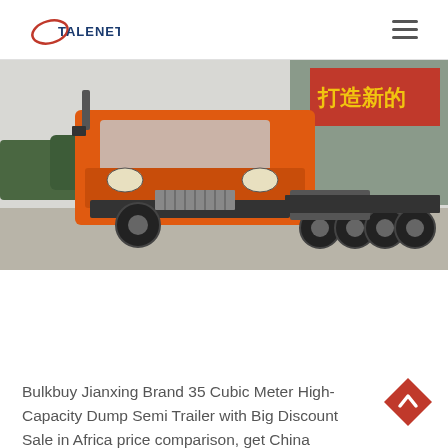TALENET
[Figure (photo): Orange heavy-duty dump truck / tractor unit photographed in a yard, with Chinese text signage in red and yellow visible in the background. The truck has a large orange cab and multiple rear axles.]
Bulkbuy Jianxing Brand 35 Cubic Meter High-Capacity Dump Semi Trailer with Big Discount Sale in Africa price comparison, get China Jianxing Brand 35 Cubic Meter High-Capacity Dump Semi Trailer with Big